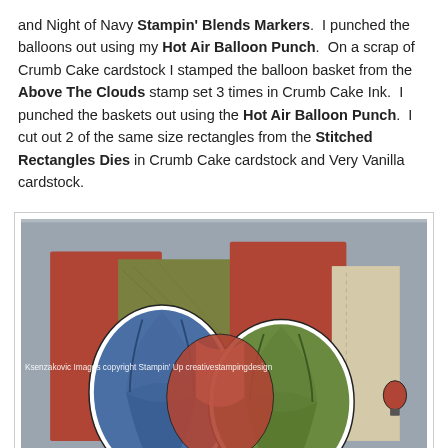and Night of Navy Stampin' Blends Markers. I punched the balloons out using my Hot Air Balloon Punch. On a scrap of Crumb Cake cardstock I stamped the balloon basket from the Above The Clouds stamp set 3 times in Crumb Cake Ink. I punched the baskets out using the Hot Air Balloon Punch. I cut out 2 of the same size rectangles from the Stitched Rectangles Dies in Crumb Cake cardstock and Very Vanilla cardstock.
[Figure (photo): Close-up photo of a handmade card featuring hot air balloons in blue, red, and green colors, with rust/terracotta colored card panels and a gold/olive textured background panel. A small hot air balloon is visible in the lower right. Watermark reads: Ksenzakovic Images copyright Stampin' Up creativestampingdesign]